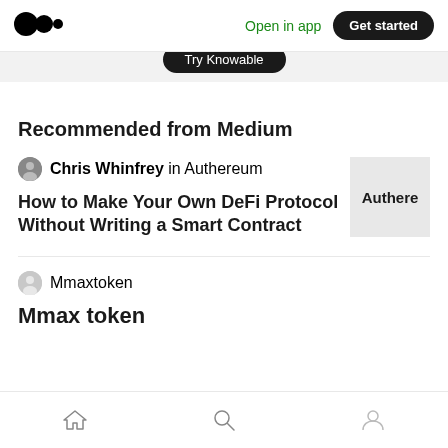Open in app  Get started
[Figure (screenshot): Medium logo (two overlapping circles) in black on the left nav bar]
[Figure (screenshot): Partial dark pill button reading 'Try Knowable' at the top of the page content]
Recommended from Medium
Chris Whinfrey in Authereum
How to Make Your Own DeFi Protocol Without Writing a Smart Contract
[Figure (screenshot): Authereum article thumbnail showing partial text 'Authere' on a light grey background]
Mmaxtoken
Mmax token
Home  Search  Profile